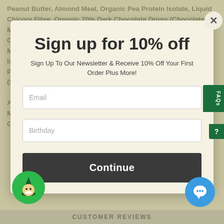Peanut Butter, Almond Meal, Organic Pea Protein Isolate, Liquid Chicory Fibre, Organic 70% Dark Chocolate Drops (Chocolate Mass, Cane Sugar, Cocoa Butter, Emulsifier), Natural Flavours, Coconut Milk Powder, Organic Brown Rice Syrup, Marine Minerals, (Calcium, Magnesium), L-Glutamine, BCAAs (Leucine, Isoleucine, Valine, Emulsifier (Sunflower Lecithin)), Guar Gum, Probiotic Culture (Bacillus Coagulans), Natural Sweetener (Stevia), Organic Vanilla Bean Powder
ALLERGEN DECLARATION: Contains Peanuts And Almonds
Manufactured On Equipment That Also Produces Products Containing Dairy, Egg, Soy and Sesame
Sign up for 10% off
Sign Up To Our Newsletter & Receive 10% Off Your First Order Plus More!
Email
Birthday
Continue
CUSTOMER REVIEWS